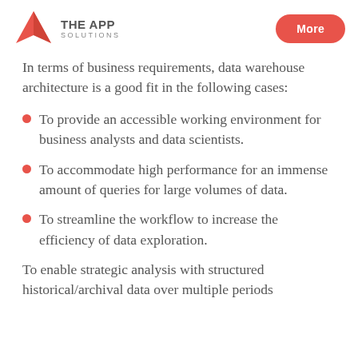THE APP SOLUTIONS | More
In terms of business requirements, data warehouse architecture is a good fit in the following cases:
To provide an accessible working environment for business analysts and data scientists.
To accommodate high performance for an immense amount of queries for large volumes of data.
To streamline the workflow to increase the efficiency of data exploration.
To enable strategic analysis with structured historical/archival data over multiple periods